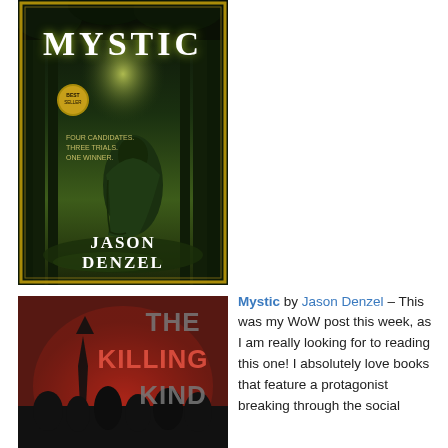[Figure (photo): Book cover of 'Mystic' by Jason Denzel — a cloaked figure in a dark forest, text reading 'Four Candidates. Three Trials. One Winner.' with the author name Jason Denzel at the bottom.]
[Figure (photo): Book cover of 'The Killing Kind' — red and black graphic design with silhouettes, large text reading 'THE KILLING KIND'.]
Mystic by Jason Denzel – This was my WoW post this week, as I am really looking for to reading this one! I absolutely love books that feature a protagonist breaking through the social...